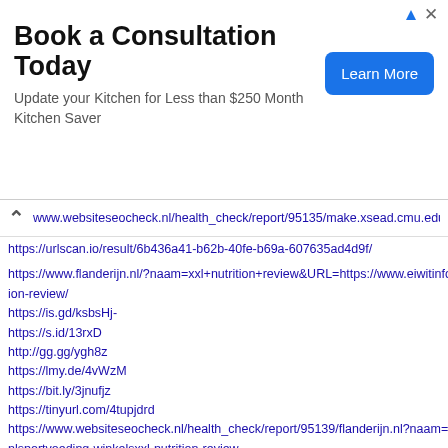[Figure (other): Advertisement banner: 'Book a Consultation Today' with subtitle 'Update your Kitchen for Less than $250 Month Kitchen Saver' and a blue 'Learn More' button. Has ad disclosure icons top right.]
www.websiteseocheck.nl/health_check/report/95135/make.xsead.cmu.edu…
https://urlscan.io/result/6b436a41-b62b-40fe-b69a-607635ad4d9f/
https://www.flanderijn.nl/?naam=xxl+nutrition+review&URL=https://www.eiwitinfo.n…ion-review/
https://is.gd/ksbsHj-
https://s.id/13rxD
http://gg.gg/ygh8z
https://lmy.de/4vWzM
https://bit.ly/3jnufjz
https://tinyurl.com/4tupjdrd
https://www.websiteseocheck.nl/health_check/report/95139/flanderijn.nl?naam=xxl…nlsportvoeding-winkelsxxl-nutrition-review
https://urlscan.io/result/f5d6ddf7-9e29-459b-aa03-cad151fed5f8/
https://www.autorola.nl/tradedoublerredirect.do?naam=eiwitshake&url=https://www…
https://is.gd/FqLDEl-
https://s.id/l1a…